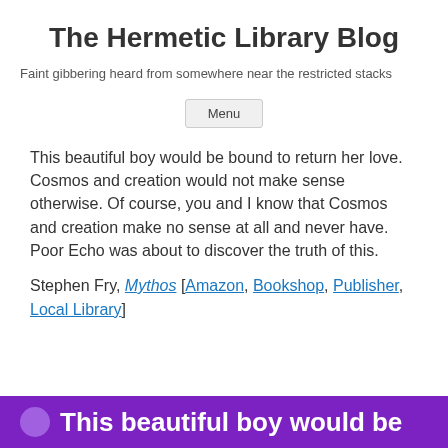The Hermetic Library Blog
Faint gibbering heard from somewhere near the restricted stacks
Menu
This beautiful boy would be bound to return her love. Cosmos and creation would not make sense otherwise. Of course, you and I know that Cosmos and creation make no sense at all and never have. Poor Echo was about to discover the truth of this.
Stephen Fry, Mythos [Amazon, Bookshop, Publisher, Local Library]
This beautiful boy would be